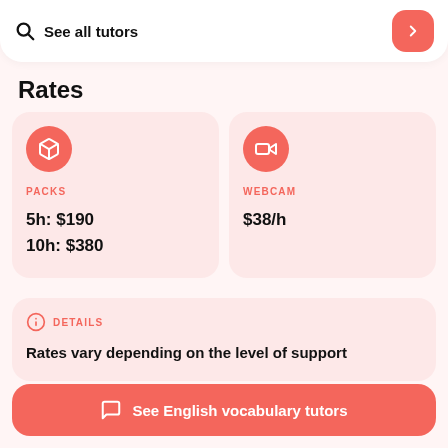See all tutors
Rates
PACKS
5h: $190
10h: $380
WEBCAM
$38/h
DETAILS
Rates vary depending on the level of support
See English vocabulary tutors